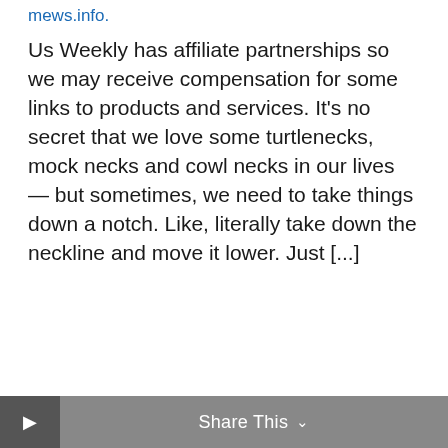mews.info.
Us Weekly has affiliate partnerships so we may receive compensation for some links to products and services. It's no secret that we love some turtlenecks, mock necks and cowl necks in our lives — but sometimes, we need to take things down a notch. Like, literally take down the neckline and move it lower. Just [...]
Share This